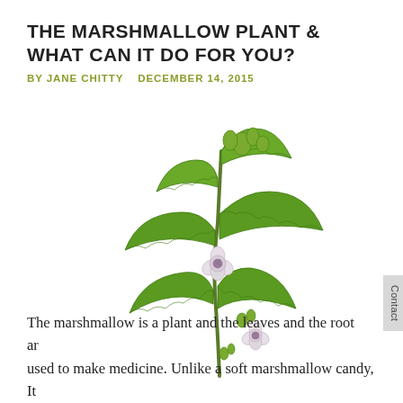THE MARSHMALLOW PLANT & WHAT CAN IT DO FOR YOU?
BY JANE CHITTY   DECEMBER 14, 2015
[Figure (photo): A marshmallow plant (Althaea officinalis) with serrated green leaves and small white flowers, shown on a white background.]
The marshmallow is a plant and the leaves and the root are used to make medicine. Unlike a soft marshmallow candy, It